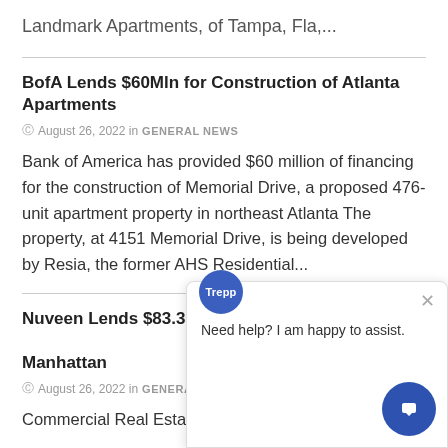Landmark Apartments, of Tampa, Fla,...
BofA Lends $60Mln for Construction of Atlanta Apartments
August 26, 2022 in GENERAL NEWS
Bank of America has provided $60 million of financing for the construction of Memorial Drive, a proposed 476-unit apartment property in northeast Atlanta The property, at 4151 Memorial Drive, is being developed by Resia, the former AHS Residential...
Nuveen Lends $83.38Mln Ag... Manhattan
August 26, 2022 in GENERAL NEWS
Commercial Real Estate Direct Staff Report Nuveen... Estate has provided $8338 million of mortgage fin... against the 256-unit Colorado apartment building at 201